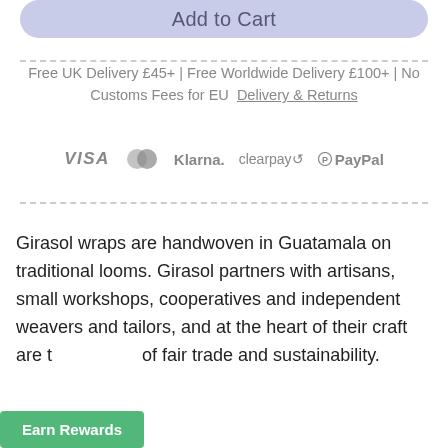Add to Cart
Free UK Delivery £45+ | Free Worldwide Delivery £100+ | No Customs Fees for EU  Delivery & Returns
[Figure (other): Payment method logos: VISA, Mastercard, Klarna, Clearpay, PayPal]
Girasol wraps are handwoven in Guatamala on traditional looms. Girasol partners with artisans, small workshops, cooperatives and independent weavers and tailors, and at the heart of their craft are t    of fair trade and sustainability.
Earn Rewards